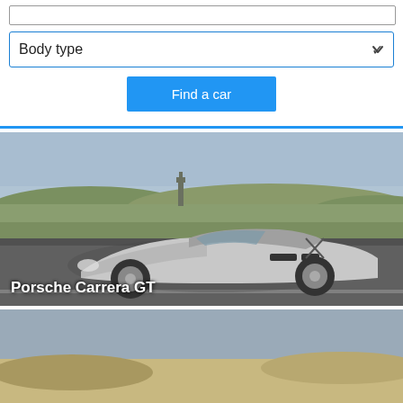[Figure (screenshot): Body type dropdown selector and Find a car button UI element]
[Figure (photo): Porsche Carrera GT silver sports car on a road with countryside background, labeled 'Porsche Carrera GT']
[Figure (photo): Porsche Panamera silver sedan on a road, labeled 'Porsche Panamera']